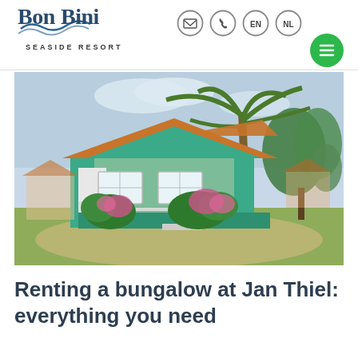Bon Bini Seaside Resort
[Figure (photo): Exterior photo of a green and white tropical bungalow with a terracotta tile roof, surrounded by palm trees and flowering shrubs, with a sandy yard in the foreground.]
Renting a bungalow at Jan Thiel: everything you need